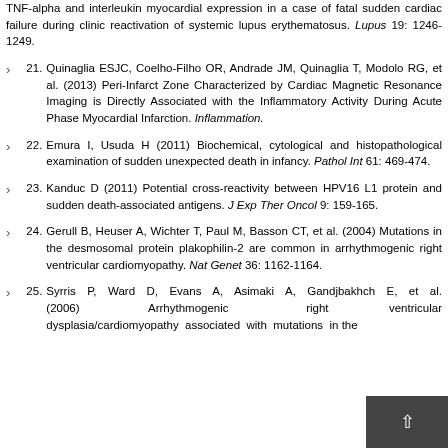TNF-alpha and interleukin myocardial expression in a case of fatal sudden cardiac failure during clinic reactivation of systemic lupus erythematosus. Lupus 19: 1246-1249.
21. Quinaglia ESJC, Coelho-Filho OR, Andrade JM, Quinaglia T, Modolo RG, et al. (2013) Peri-Infarct Zone Characterized by Cardiac Magnetic Resonance Imaging is Directly Associated with the Inflammatory Activity During Acute Phase Myocardial Infarction. Inflammation.
22. Emura I, Usuda H (2011) Biochemical, cytological and histopathological examination of sudden unexpected death in infancy. Pathol Int 61: 469-474.
23. Kanduc D (2011) Potential cross-reactivity between HPV16 L1 protein and sudden death-associated antigens. J Exp Ther Oncol 9: 159-165.
24. Gerull B, Heuser A, Wichter T, Paul M, Basson CT, et al. (2004) Mutations in the desmosomal protein plakophilin-2 are common in arrhythmogenic right ventricular cardiomyopathy. Nat Genet 36: 1162-1164.
25. Syrris P, Ward D, Evans A, Asimaki A, Gandjbakhch E, et al. (2006) Arrhythmogenic right ventricular dysplasia/cardiomyopathy associated with mutations in the